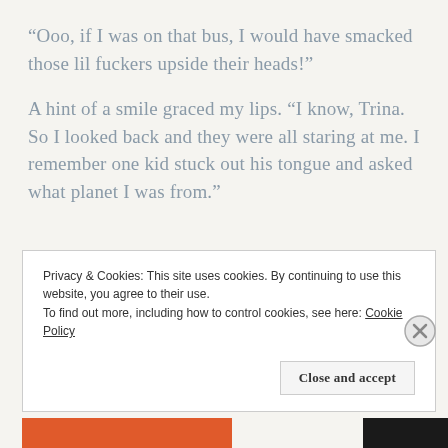“Ooo, if I was on that bus, I would have smacked those lil fuckers upside their heads!”
A hint of a smile graced my lips. “I know, Trina. So I looked back and they were all staring at me. I remember one kid stuck out his tongue and asked what planet I was from.”
Privacy & Cookies: This site uses cookies. By continuing to use this website, you agree to their use.
To find out more, including how to control cookies, see here: Cookie Policy